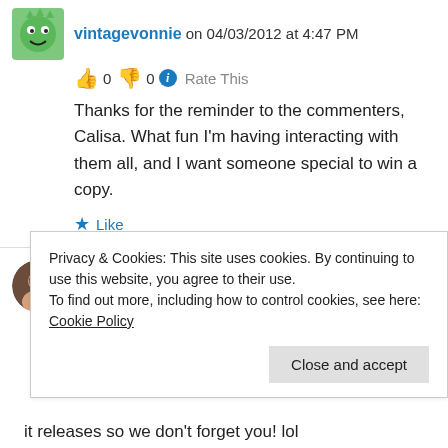vintagevonnie on 04/03/2012 at 4:47 PM
👍 0 👎 0 ℹ Rate This
Thanks for the reminder to the commenters, Calisa. What fun I'm having interacting with them all, and I want someone special to win a copy.
★ Like
Calisa Rhose on 04/03/2012 at 4:22 PM
👍 0 👎 0 ℹ Rate This
Privacy & Cookies: This site uses cookies. By continuing to use this website, you agree to their use.
To find out more, including how to control cookies, see here: Cookie Policy
Close and accept
it releases so we don't forget you! lol